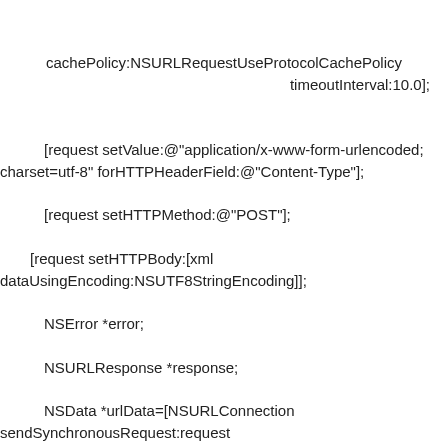cachePolicy:NSURLRequestUseProtocolCachePolicy
                                    timeoutInterval:10.0];


    [request setValue:@"application/x-www-form-urlencoded; charset=utf-8" forHTTPHeaderField:@"Content-Type"];

    [request setHTTPMethod:@"POST"];

  [request setHTTPBody:[xml dataUsingEncoding:NSUTF8StringEncoding]];

    NSError *error;

    NSURLResponse *response;

    NSData *urlData=[NSURLConnection sendSynchronousRequest:request